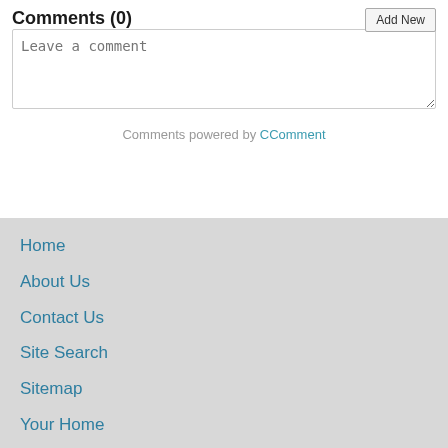Comments (0)
Leave a comment
Comments powered by CComment
Home
About Us
Contact Us
Site Search
Sitemap
Your Home
Cars & Travel
Lifestyle